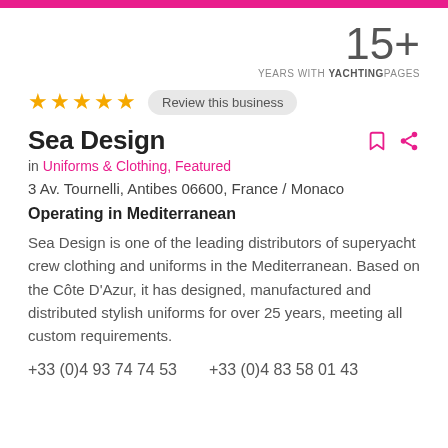15+
YEARS WITH YACHTINGPAGES
★★★★★ Review this business
Sea Design
in Uniforms & Clothing, Featured
3 Av. Tournelli, Antibes 06600, France / Monaco
Operating in Mediterranean
Sea Design is one of the leading distributors of superyacht crew clothing and uniforms in the Mediterranean. Based on the Côte D'Azur, it has designed, manufactured and distributed stylish uniforms for over 25 years, meeting all custom requirements.
+33 (0)4 93 74 74 53    +33 (0)4 83 58 01 43